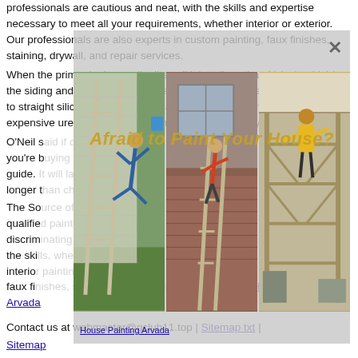professionals are cautious and neat, with the skills and expertise necessary to meet all your requirements, whether interior or exterior. Our professionals are also experts in custom painting, faux finishes, staining, drywall, and repair services.
When the primer is dry, caulk all small joints (less than ½-inch-wide) in the siding and trim. Most pros use siliconized acrylics—paint won't stick to straight silicones—but Guertin and O'Neil like the new, more expensive urethane acrylics for their greater flexibility and longevity.
O'Neil s...ails, you're b...quality guide....ast longer t...
[Figure (photo): Modal overlay with close button (×) containing three photos of house painting scenes: person falling off ladder, painter on ladder on brick house, person working on scaffolding indoors. Overlay title reads 'Afraid to Paint Your House?']
The So...f qualifie...hese discrim...t, with the ski...hether interio...ainting, faux finishes, staining, drywall, and repair services. House Painting Arvada
Contact us at webmaster@gclub11.top | Sitemap txt | Sitemap